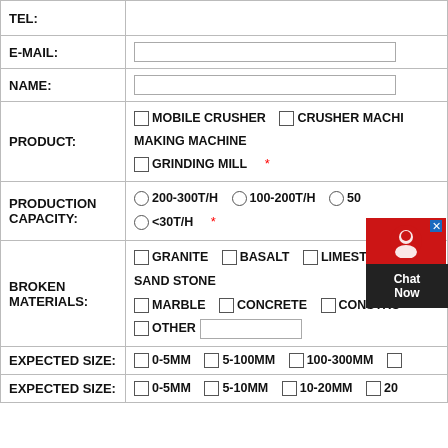| TEL: |  |
| E-MAIL: |  |
| NAME: |  |
| PRODUCT: | ☐ MOBILE CRUSHER  ☐ CRUSHER MACHINE MAKING MACHINE  ☐ GRINDING MILL * |
| PRODUCTION CAPACITY: | ○ 200-300T/H  ○ 100-200T/H  ○ 50-...T/H  ○ <30T/H * |
| BROKEN MATERIALS: | ☐ GRANITE  ☐ BASALT  ☐ LIMESTONE SAND STONE  ☐ MARBLE  ☐ CONCRETE  ☐ CONSTRU...  ☐ OTHER [input] |
| EXPECTED SIZE: | ☐ 0-5MM  ☐ 5-100MM  ☐ 100-300MM  ☐ ... |
| EXPECTED SIZE: | ☐ 0-5MM  ☐ 5-10MM  ☐ 10-20MM  ☐ 20... |